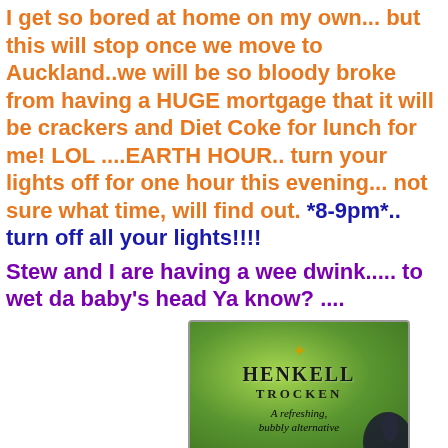I get so bored at home on my own... but this will stop once we move to Auckland..we will be so bloody broke from having a HUGE mortgage that it will be crackers and Diet Coke for lunch for me! LOL ....EARTH HOUR.. turn your lights off for one hour this evening... not sure what time, will find out. *8-9pm*.. turn off all your lights!!!!
Stew and I are having a wee dwink..... to wet da baby's head Ya know? ....
[Figure (photo): Henkell Trocken sparkling wine advertisement label with green background showing the text 'HENKELL TROCKEN A refreshing, bubbly alternative']